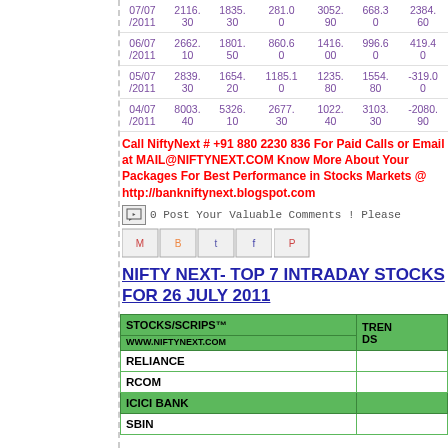| Date | Col1 | Col2 | Col3 | Col4 | Col5 | Col6 |
| --- | --- | --- | --- | --- | --- | --- |
| 07/07/2011 | 2116.30 | 1835.30 | 281.00 | 3052.90 | 668.30 | 2384.60 |
| 06/07/2011 | 2662.10 | 1801.50 | 860.60 | 1416.00 | 996.60 | 419.40 |
| 05/07/2011 | 2839.30 | 1654.20 | 1185.10 | 1235.80 | 1554.80 | -319.00 |
| 04/07/2011 | 8003.40 | 5326.10 | 2677.30 | 1022.40 | 3103.30 | -2080.90 |
Call NiftyNext # +91 880 2230 836 For Paid Calls or Email at MAIL@NIFTYNEXT.COM Know More About Your Packages For Best Performance in Stocks Markets @ http://bankniftynext.blogspot.com
0 Post Your Valuable Comments ! Please
NIFTY NEXT- TOP 7 INTRADAY STOCKS FOR 26 JULY 2011
| STOCKS/SCRIPS™
WWW.NIFTYNEXT.COM | TRENDS |
| --- | --- |
| RELIANCE |  |
| RCOM |  |
| ICICI BANK |  |
| SBIN |  |